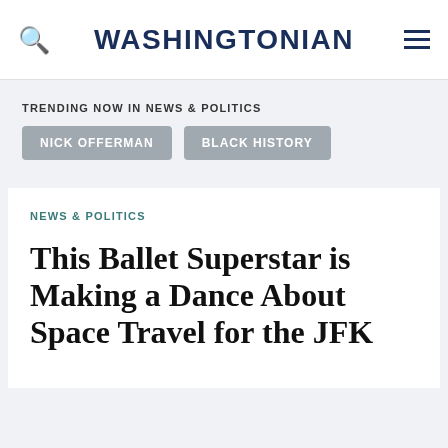WASHINGTONIAN
TRENDING NOW IN NEWS & POLITICS
NICK OFFERMAN
BLACK HISTORY
NEWS & POLITICS
This Ballet Superstar is Making a Dance About Space Travel for the JFK